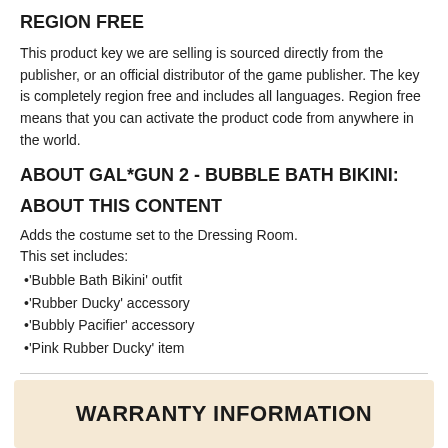REGION FREE
This product key we are selling is sourced directly from the publisher, or an official distributor of the game publisher. The key is completely region free and includes all languages. Region free means that you can activate the product code from anywhere in the world.
ABOUT GAL*GUN 2 - BUBBLE BATH BIKINI:
ABOUT THIS CONTENT
Adds the costume set to the Dressing Room.
This set includes:
•'Bubble Bath Bikini' outfit
•'Rubber Ducky' accessory
•'Bubbly Pacifier' accessory
•'Pink Rubber Ducky' item
WARRANTY INFORMATION